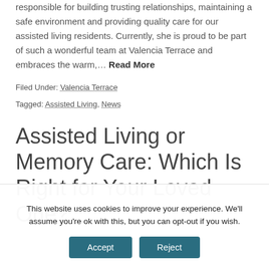responsible for building trusting relationships, maintaining a safe environment and providing quality care for our assisted living residents. Currently, she is proud to be part of such a wonderful team at Valencia Terrace and embraces the warm,… Read More
Filed Under: Valencia Terrace
Tagged: Assisted Living, News
Assisted Living or Memory Care: Which Is Right for Your Loved One?
This website uses cookies to improve your experience. We'll assume you're ok with this, but you can opt-out if you wish.